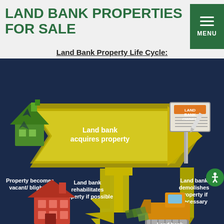LAND BANK PROPERTIES FOR SALE
Land Bank Property Life Cycle:
[Figure (flowchart): Infographic showing the Land Bank Property Life Cycle on a dark navy background. A green broken house (vacant/blighted) on the left has a large yellow arrow pointing right labeled 'Land bank acquires property' leading to a 'LAND BANK OWNED' sign with a pen. Below the sign, two arrows diverge: one yellow arrow goes down-left pointing to 'Land bank rehabilitates property if possible', and another yellow arrow goes straight down pointing to 'Land bank demolishes property if necessary'. The rehabilitation arrow leads further down-left to a red house icon labeled 'Land bank sells property for affordable...'. The demolition arrow leads down to a bulldozer icon labeled 'Land bank restores property to productive use'.]